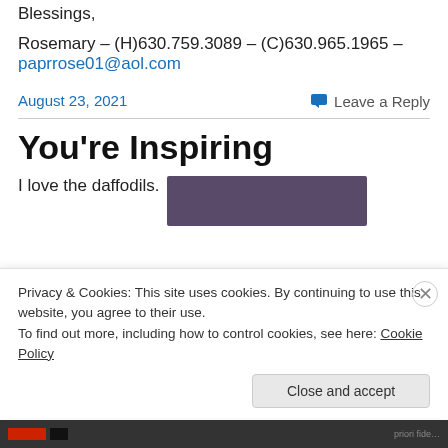Blessings,
Rosemary – (H)630.759.3089 – (C)630.965.1965 – paprrose01@aol.com
August 23, 2021
Leave a Reply
You're Inspiring
I love the daffodils.
[Figure (photo): Partial photo visible at right side of page, dark purple/brown tones]
Privacy & Cookies: This site uses cookies. By continuing to use this website, you agree to their use. To find out more, including how to control cookies, see here: Cookie Policy
Close and accept